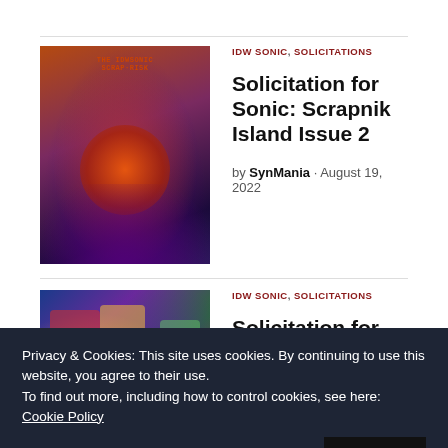IDW SONIC, SOLICITATIONS
Solicitation for Sonic: Scrapnik Island Issue 2
by SynMania · August 19, 2022
IDW SONIC, SOLICITATIONS
Solicitation for Sonic The Hedgehog Issue 55
Privacy & Cookies: This site uses cookies. By continuing to use this website, you agree to their use.
To find out more, including how to control cookies, see here: Cookie Policy
Related Posts
Close